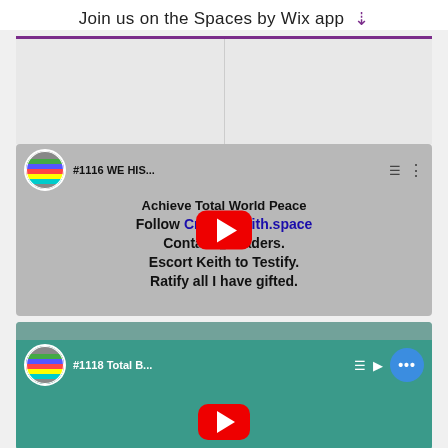Join us on the Spaces by Wix app ↓
[Figure (screenshot): YouTube video thumbnail for #1116 WE HIS... showing text: Achieve Total World Peace Follow CreatorKeith.space Contact Leaders. Escort Keith to Testify. Ratify all I have gifted.]
[Figure (screenshot): YouTube video thumbnail for #1118 Total B... with teal background, showing dots menu button in blue circle]